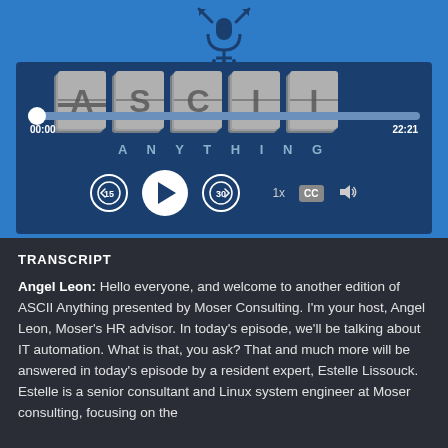[Figure (screenshot): Podcast audio player with ASCII Anything logo, progress bar showing 00:00 / 22:21, playback controls including rewind 15s, play button, forward 30s, speed 1x, CC button, and volume icon. Blue background with dark navy player box.]
TRANSCRIPT
Angel Leon: Hello everyone, and welcome to another edition of ASCII Anything presented by Moser Consulting. I'm your host, Angel Leon, Moser's HR advisor. In today's episode, we'll be talking about IT automation. What is that, you ask? That and much more will be answered in today's episode by a resident expert, Estelle Lissouck. Estelle is a senior consultant and Linux system engineer at Moser consulting, focusing on the